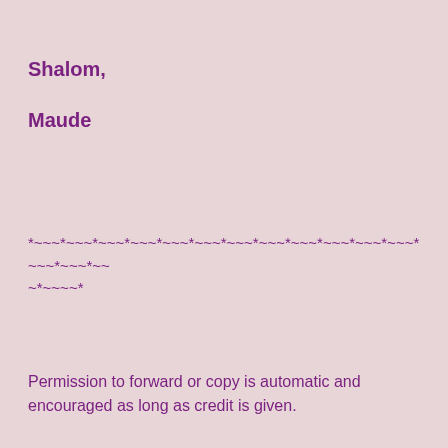Shalom,
Maude
*~~~*~~~*~~~*~~~*~~~*~~~*~~~*~~~*~~~*~~~*~~~*~~~*~~~*~~~*~~
~*~~~~*
Permission to forward or copy is automatic and encouraged as long as credit is given.
Comments are welcome and appreciated.